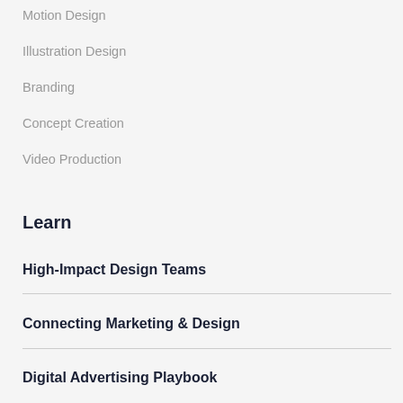Motion Design
Illustration Design
Branding
Concept Creation
Video Production
Learn
High-Impact Design Teams
Connecting Marketing & Design
Digital Advertising Playbook